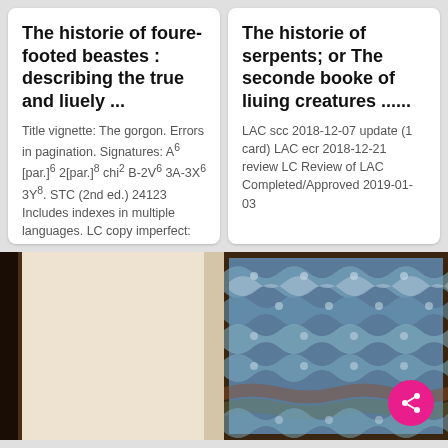The historie of foure-footed beastes : describing the true and liuely ...
Title vignette: The gorgon. Errors in pagination. Signatures: A⁶ [par.]⁶ 2[par.]⁸ chi² B-2V⁶ 3A-3X⁶ 3Y⁸. STC (2nd ed.) 24123 Includes indexes in multiple languages. LC copy imperfect: first and last leaves (bla... More
The historie of serpents; or The seconde booke of liuing creatures ......
LAC scc 2018-12-07 update (1 card) LAC ecr 2018-12-21 review LC Review of LAC Completed/Approved 2019-01-03
[Figure (photo): Open book showing a blank cream-colored page with dark binding on the left side]
[Figure (photo): Close-up of a marbled book cover with blue, white, and brown swirling pattern, with a share button overlay]